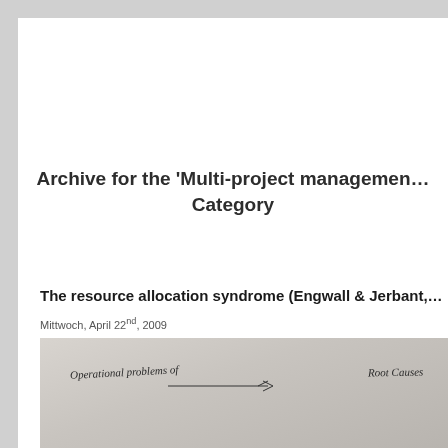Archive for the 'Multi-project management' Category
The resource allocation syndrome (Engwall & Jerbant,
Mittwoch, April 22nd, 2009
[Figure (photo): Handwritten diagram showing 'Operational problems of' on the left and 'Root Causes' on the right, connected by lines, on a light gray paper background.]